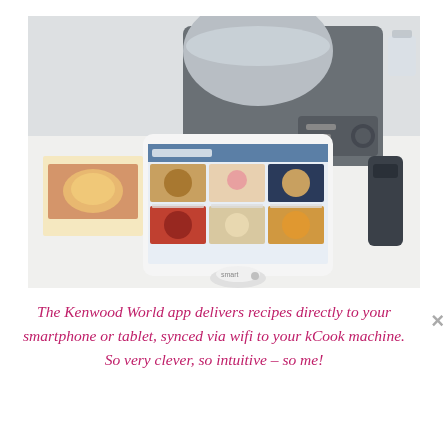[Figure (photo): A kitchen scene showing a white tablet on a smart dock stand displaying the Kenwood World recipe app (showing recipe cards with food photos), with a silver kCook smart cooking machine in the background, a recipe booklet with food images on the left, and kitchen accessories on a white countertop.]
The Kenwood World app delivers recipes directly to your smartphone or tablet, synced via wifi to your kCook machine. So very clever, so intuitive – so me!